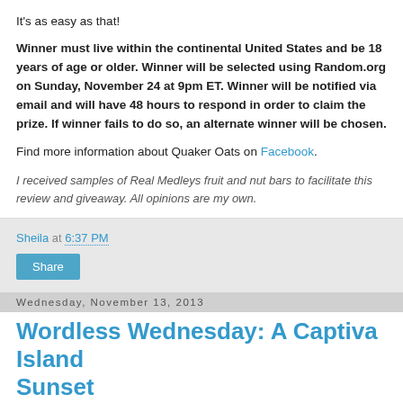It's as easy as that!
Winner must live within the continental United States and be 18 years of age or older. Winner will be selected using Random.org on Sunday, November 24 at 9pm ET. Winner will be notified via email and will have 48 hours to respond in order to claim the prize. If winner fails to do so, an alternate winner will be chosen.
Find more information about Quaker Oats on Facebook.
I received samples of Real Medleys fruit and nut bars to facilitate this review and giveaway. All opinions are my own.
Sheila at 6:37 PM
Share
Wednesday, November 13, 2013
Wordless Wednesday: A Captiva Island Sunset